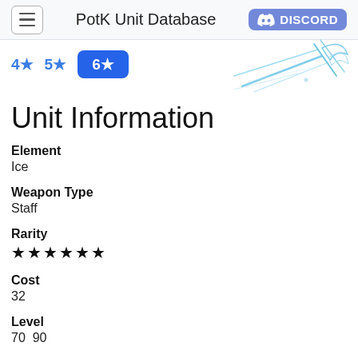PotK Unit Database  DISCORD
4★
5★
6★
[Figure (illustration): Light blue sketch illustration of a character or creature with wing-like or blade-like streaks in the upper right area]
Unit Information
Element
Ice
Weapon Type
Staff
Rarity
★★★★★★
Cost
32
Level
70  90